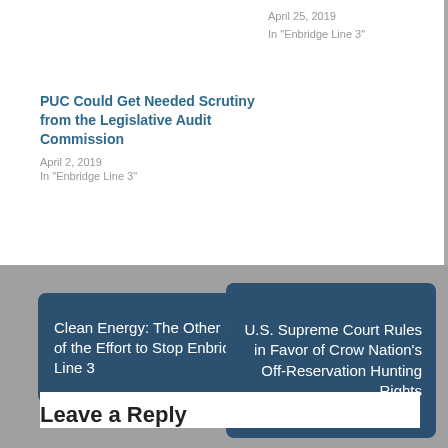April 25, 2019
In "Enbridge Line 3"
PUC Could Get Needed Scrutiny from the Legislative Audit Commission
April 2, 2019
In "Enbridge Line 3"
Clean Energy: The Other Half of the Effort to Stop Enbridge Line 3
U.S. Supreme Court Rules in Favor of Crow Nation’s Off-Reservation Hunting Rights
Leave a Reply